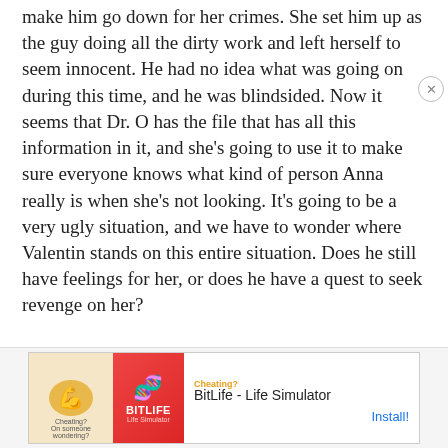make him go down for her crimes. She set him up as the guy doing all the dirty work and left herself to seem innocent. He had no idea what was going on during this time, and he was blindsided. Now it seems that Dr. O has the file that has all this information in it, and she's going to use it to make sure everyone knows what kind of person Anna really is when she's not looking. It's going to be a very ugly situation, and we have to wonder where Valentin stands on this entire situation. Does he still have feelings for her, or does he have a quest to seek revenge on her?
[Figure (screenshot): Advertisement banner for BitLife - Life Simulator app with muscle/cheating graphic on left and install button on right]